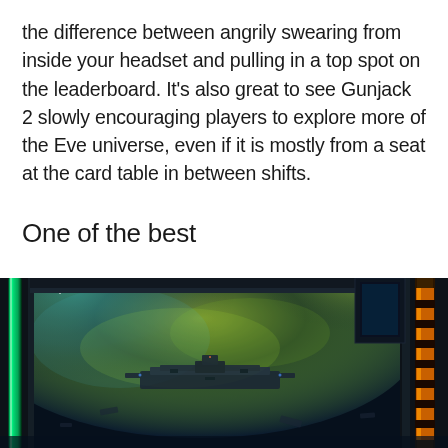the difference between angrily swearing from inside your headset and pulling in a top spot on the leaderboard. It's also great to see Gunjack 2 slowly encouraging players to explore more of the Eve universe, even if it is mostly from a seat at the card table in between shifts.
One of the best
[Figure (photo): Screenshot from Gunjack 2 video game showing a cockpit view looking out into a science fiction space scene with glowing green/yellow nebula clouds, a large space station or ship structure visible in the distance, and cockpit framing elements including a glowing cyan/green bar on the left and an orange mechanical structure on the right.]